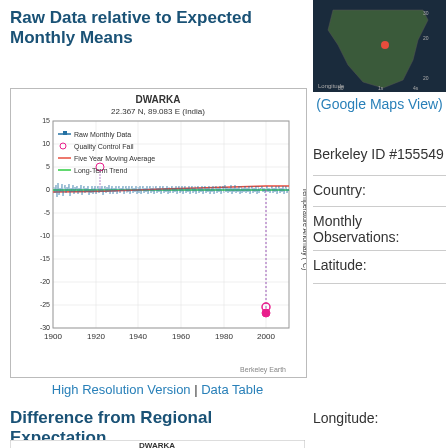Raw Data relative to Expected Monthly Means
[Figure (continuous-plot): Time series scatter plot of raw monthly temperature anomaly data for Dwarka (22.367 N, 89.083 E, India) from approximately 1900 to 2005. Shows Raw Monthly Data (blue dots), Quality Control Fail (pink circles), Five Year Moving Average (red line), and Long-Term Trend (green line). Y-axis: Temperature Anomaly (°C) ranging from about -30 to +15. Notable outlier spike downward around year 2000.]
High Resolution Version | Data Table
Difference from Regional Expectation
[Figure (continuous-plot): Partial view of second time series chart for Dwarka showing Difference from Regional Expectation.]
[Figure (map): Small map showing location of Dwarka station in India (red dot on map of Indian subcontinent).]
(Google Maps View)
Berkeley ID #155549
Country:
Monthly Observations:
Latitude:
Longitude: